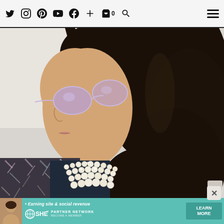Social media icons navigation bar with Twitter, Instagram, Pinterest, YouTube, Facebook, Plus, Cart(0), Search, and Hamburger menu
[Figure (photo): Close-up photo of a woman in profile view wearing purple tinted round sunglasses, a pearl choker necklace, and a tweed/boucle jacket with dark hair flowing]
[Figure (infographic): SHE Partner Network advertisement banner: avatar of a woman, bullet text 'Earning site & social revenue', SHE logo, PARTNER NETWORK text, BECOME A MEMBER text, and a LEARN MORE button]